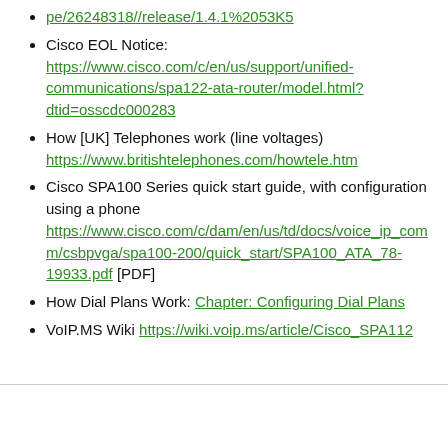Cisco EOL Notice: https://www.cisco.com/c/en/us/support/unified-communications/spa122-ata-router/model.html?dtid=osscdc000283
How [UK] Telephones work (line voltages) https://www.britishtelephones.com/howtele.htm
Cisco SPA100 Series quick start guide, with configuration using a phone https://www.cisco.com/c/dam/en/us/td/docs/voice_ip_com m/csbpvga/spa100-200/quick_start/SPA100_ATA_78-19933.pdf [PDF]
How Dial Plans Work: Chapter: Configuring Dial Plans
VoIP.MS Wiki https://wiki.voip.ms/article/Cisco_SPA112